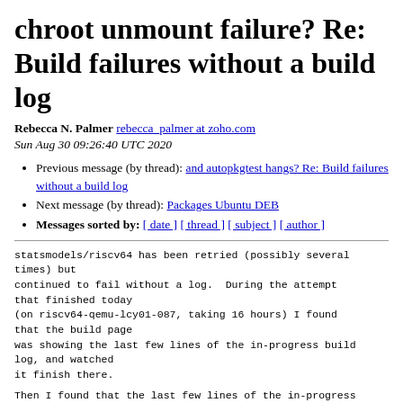chroot unmount failure? Re: Build failures without a build log
Rebecca N. Palmer rebecca_palmer at zoho.com
Sun Aug 30 09:26:40 UTC 2020
Previous message (by thread): and autopkgtest hangs? Re: Build failures without a build log
Next message (by thread): Packages Ubuntu DEB
Messages sorted by: [ date ] [ thread ] [ subject ] [ author ]
statsmodels/riscv64 has been retried (possibly several
times) but
continued to fail without a log.  During the attempt
that finished today
(on riscv64-qemu-lcy01-087, taking 16 hours) I found
that the build page
was showing the last few lines of the in-progress build
log, and watched
it finish there.
Then I found that the last few lines of the in-progress